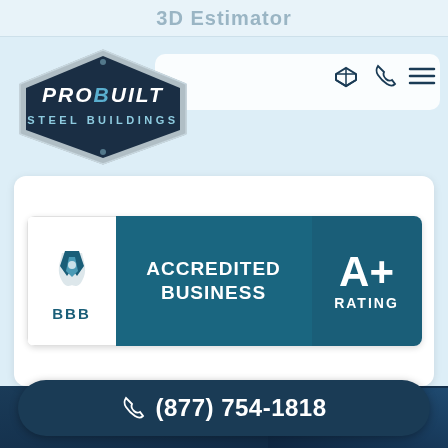[Figure (logo): ProBuilt Steel Buildings logo — dark navy diamond/hexagon shape with silver border, bold white text 'ProBuilt Steel Buildings']
[Figure (logo): BBB Accredited Business badge with A+ Rating. Left white panel with BBB torch logo and 'BBB' text. Middle teal panel with 'ACCREDITED BUSINESS' text. Right darker teal panel with 'A+' and 'RATING'.]
(877) 754-1818